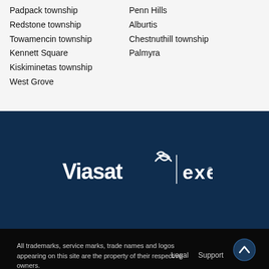Padpack township
Penn Hills
Redstone township
Alburtis
Towamencin township
Chestnuthill township
Kennett Square
Palmyra
Kiskiminetas township
West Grove
[Figure (logo): Viasat and Exede combined logo in white on dark navy background]
All trademarks, service marks, trade names and logos appearing on this site are the property of their respective owners. Legal Support